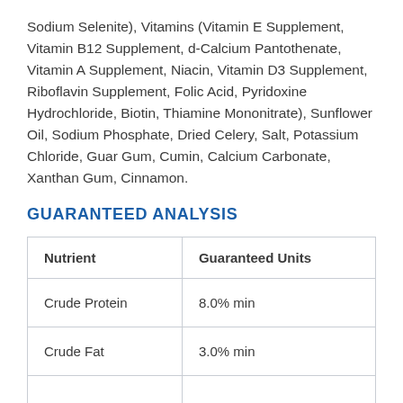Sodium Selenite), Vitamins (Vitamin E Supplement, Vitamin B12 Supplement, d-Calcium Pantothenate, Vitamin A Supplement, Niacin, Vitamin D3 Supplement, Riboflavin Supplement, Folic Acid, Pyridoxine Hydrochloride, Biotin, Thiamine Mononitrate), Sunflower Oil, Sodium Phosphate, Dried Celery, Salt, Potassium Chloride, Guar Gum, Cumin, Calcium Carbonate, Xanthan Gum, Cinnamon.
GUARANTEED ANALYSIS
| Nutrient | Guaranteed Units |
| --- | --- |
| Crude Protein | 8.0% min |
| Crude Fat | 3.0% min |
|  |  |